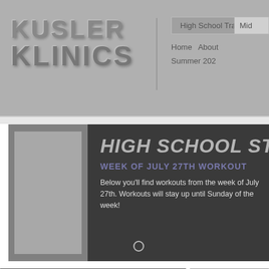KUSLER KLINICS
[Figure (screenshot): Navigation bar with High School Training highlighted, Home, About, Summer 2020 links, and partial Mid- link visible]
[Figure (photo): Hero banner with dark background showing HIGH SCHOOL STRENGTH title, WEEK OF JULY 27TH WORKOUT subtitle, descriptive text about workouts, and a gray placeholder image on the left]
HIGH SCHOOL STRENGTH
WEEK OF JULY 27TH WORKOUT
Below you'll find workouts from the week of July 27th. Workouts will stay up until Sunday of the week!
[Figure (screenshot): Two partial card thumbnails at the bottom of the page, left card is dark gray with blurred content, right card is medium gray]